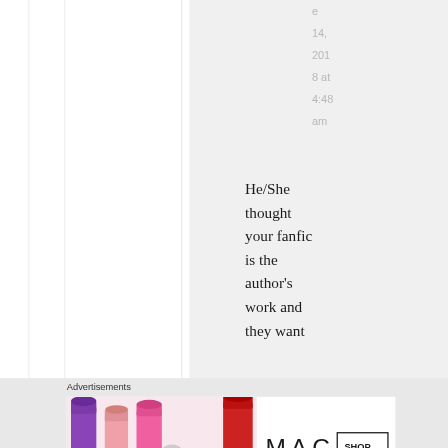e
14,
2018 at
4:48
am
He/She thought your fanfic is the author's work and they want
Advertisements
[Figure (photo): MAC cosmetics advertisement showing lipsticks in purple, pink, and red with MAC logo and 'SHOP NOW' button]